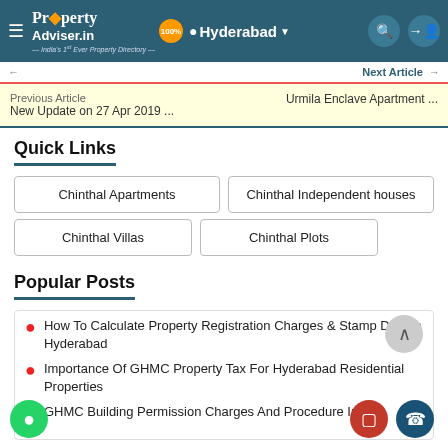Property Adviser.in — India's 1st Ever Property Directory — Hyderabad
Previous Article | New Update on 27 Apr 2019 ... | Next Article | Urmila Enclave Apartment ...
Quick Links
Chinthal Apartments
Chinthal Independent houses
Chinthal Villas
Chinthal Plots
Popular Posts
How To Calculate Property Registration Charges & Stamp Duty In Hyderabad
Importance Of GHMC Property Tax For Hyderabad Residential Properties
GHMC Building Permission Charges And Procedure In ...